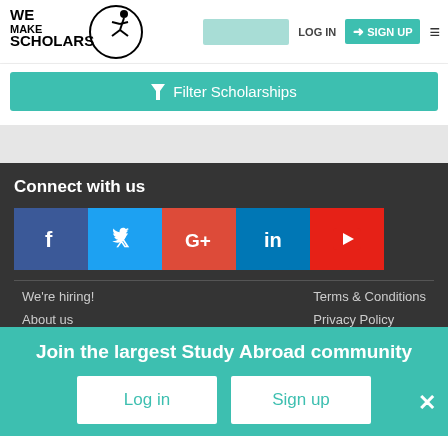[Figure (logo): We Make Scholars logo with circular emblem and stick figure]
LOG IN
SIGN UP
Filter Scholarships
Connect with us
[Figure (infographic): Social media icons: Facebook, Twitter, Google+, LinkedIn, YouTube]
We're hiring!
Terms & Conditions
About us
Privacy Policy
Join the largest Study Abroad community
Log in
Sign up